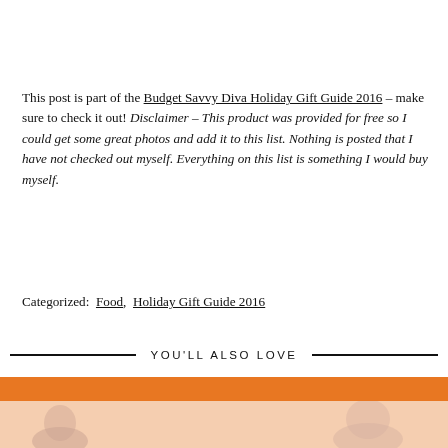This post is part of the Budget Savvy Diva Holiday Gift Guide 2016 – make sure to check it out! Disclaimer – This product was provided for free so I could get some great photos and add it to this list. Nothing is posted that I have not checked out myself. Everything on this list is something I would buy myself.
Categorized:  Food,  Holiday Gift Guide 2016
YOU'LL ALSO LOVE
[Figure (photo): Partial image showing an orange banner bar at the top and a peach/light background below with faint silhouette shapes.]